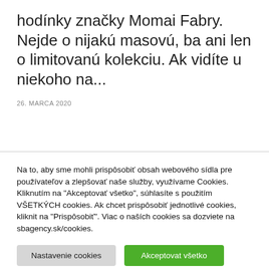hodínky značky Momai Fabry. Nejde o nijakú masovú, ba ani len o limitovanú kolekciu. Ak vidíte u niekoho na...
26. MARCA 2020
Na to, aby sme mohli prispôsobiť obsah webového sídla pre používateľov a zlepšovať naše služby, využívame Cookies. Kliknutím na "Akceptovať všetko", súhlasíte s použitím VŠETKÝCH cookies. Ak chcet prispôsobiť jednotlivé cookies, kliknit na "Prispôsobiť". Viac o naších cookies sa dozviete na sbagency.sk/cookies.